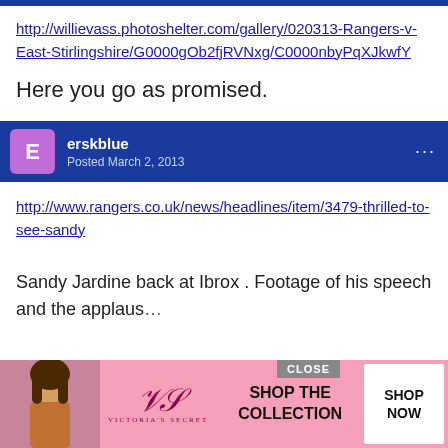http://willievass.photoshelter.com/gallery/020313-Rangers-v-East-Stirlingshire/G0000gOb2fjRVNxg/C0000nbyPqXJkwfY
Here you go as promised.
erskblue — Posted March 2, 2013
http://www.rangers.co.uk/news/headlines/item/3479-thrilled-to-see-sandy
Sandy Jardine back at Ibrox . Footage of his speech and the applaus...
[Figure (infographic): Victoria's Secret advertisement banner with pink background, model photo, VS logo, 'SHOP THE COLLECTION' text, and 'SHOP NOW' button. Close button shown.]